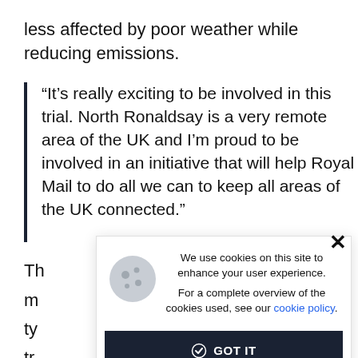less affected by poor weather while reducing emissions.
“It’s really exciting to be involved in this trial. North Ronaldsay is a very remote area of the UK and I’m proud to be involved in an initiative that will help Royal Mail to do all we can to keep all areas of the UK connected.”
Th m ty tr is
We use cookies on this site to enhance your user experience.
For a complete overview of the cookies used, see our cookie policy.
GOT IT